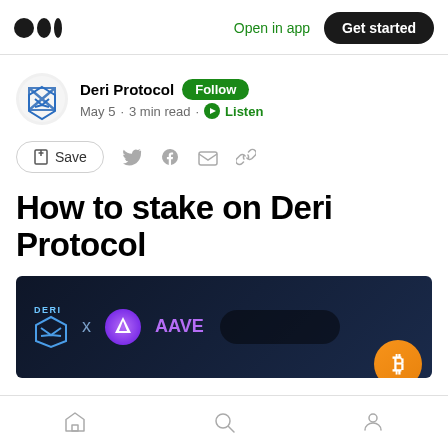Open in app  Get started
Deri Protocol  Follow
May 5 · 3 min read · Listen
Save
How to stake on Deri Protocol
[Figure (screenshot): Deri Protocol x AAVE banner image with logos on dark blue background]
Home  Search  Profile